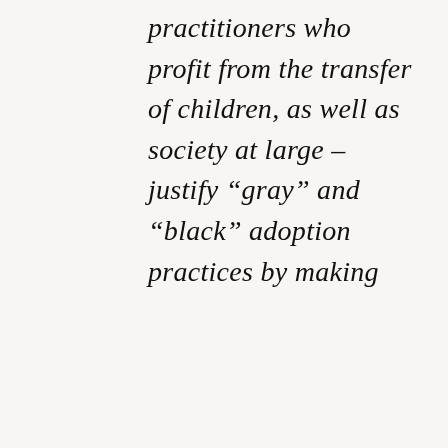practitioners who profit from the transfer of children, as well as society at large – justify “gray” and “black” adoption practices by making